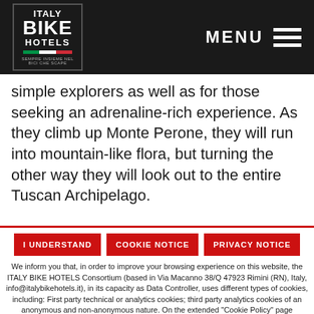ITALY BIKE HOTELS | MENU
simple explorers as well as for those seeking an adrenaline-rich experience. As they climb up Monte Perone, they will run into mountain-like flora, but turning the other way they will look out to the entire Tuscan Archipelago.
I UNDERSTAND | COOKIE NOTICE | PRIVACY NOTICE
We inform you that, in order to improve your browsing experience on this website, the ITALY BIKE HOTELS Consortium (based in Via Macanno 38/Q 47923 Rimini (RN), Italy, info@italybikehotels.it), in its capacity as Data Controller, uses different types of cookies, including: First party technical or analytics cookies; third party analytics cookies of an anonymous and non-anonymous nature. On the extended “Cookie Policy” page available on the www.italybikehotels.it website, instructions are provided on how to deny consent to the installation of any type of cookie. By clicking on “I UNDERSTAND” or continuing to browse the website, you declare to have understood the methods described in the extended Privacy Policy, pursuant to Article 13 of EU Regulation 2016/679.